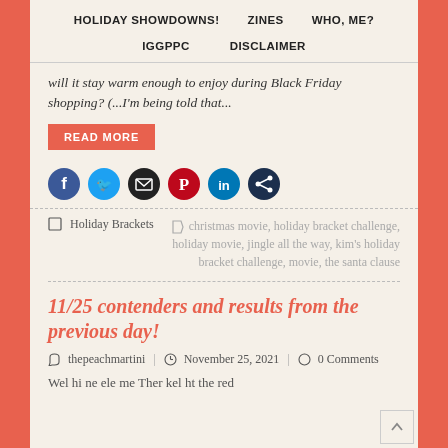HOLIDAY SHOWDOWNS!   ZINES   WHO, ME?   IGGPPC   DISCLAIMER
will it stay warm enough to enjoy during Black Friday shopping? (...I'm being told that...
READ MORE
[Figure (infographic): Social sharing icons: Facebook (blue circle), Twitter (light blue circle), Email (dark circle), Pinterest (red circle), LinkedIn (blue circle), Share (dark blue circle)]
Holiday Brackets    christmas movie, holiday bracket challenge, holiday movie, jingle all the way, kim's holiday bracket challenge, movie, the santa clause
11/25 contenders and results from the previous day!
thepeachmartini | November 25, 2021 | 0 Comments
Wel hi ne ele me Ther kel ht the red